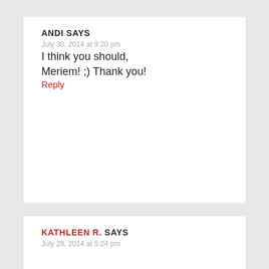ANDI SAYS
July 30, 2014 at 9:20 pm
I think you should, Meriem! ;) Thank you!
Reply
KATHLEEN R. SAYS
July 29, 2014 at 5:24 pm